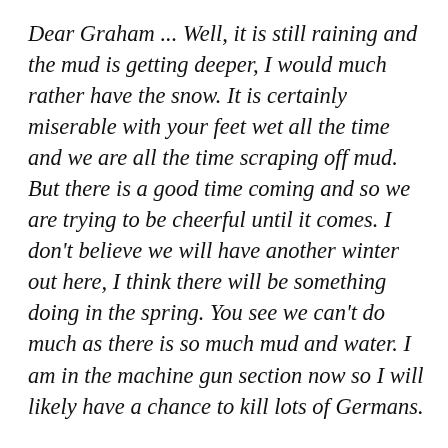Dear Graham ... Well, it is still raining and the mud is getting deeper, I would much rather have the snow. It is certainly miserable with your feet wet all the time and we are all the time scraping off mud. But there is a good time coming and so we are trying to be cheerful until it comes. I don't believe we will have another winter out here, I think there will be something doing in the spring. You see we can't do much as there is so much mud and water. I am in the machine gun section now so I will likely have a chance to kill lots of Germans.

I suppose you had as merry a Christmas as ever,